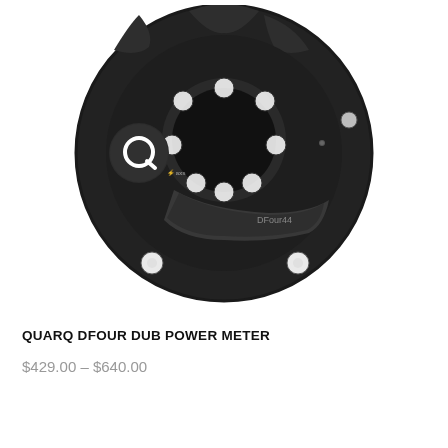[Figure (photo): Close-up photo of a Quarq DFour DUB power meter spider/crank component. The device is circular and matte black with a prominent Q logo on the left side, AXS branding, a DFour44 label on the lower crank arm, and a spider with scalloped cutouts in the center. Bolt holes and hardware are visible.]
QUARQ DFOUR DUB POWER METER
$429.00 – $640.00